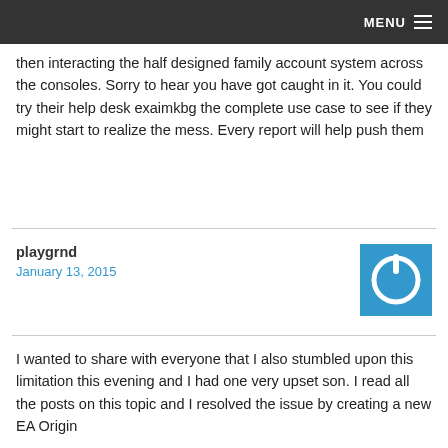MENU
then interacting the half designed family account system across the consoles. Sorry to hear you have got caught in it. You could try their help desk exaimkbg the complete use case to see if they might start to realize the mess. Every report will help push them
playgrnd
January 13, 2015
[Figure (logo): Blue square avatar with white power button icon]
I wanted to share with everyone that I also stumbled upon this limitation this evening and I had one very upset son. I read all the posts on this topic and I resolved the issue by creating a new EA Origin